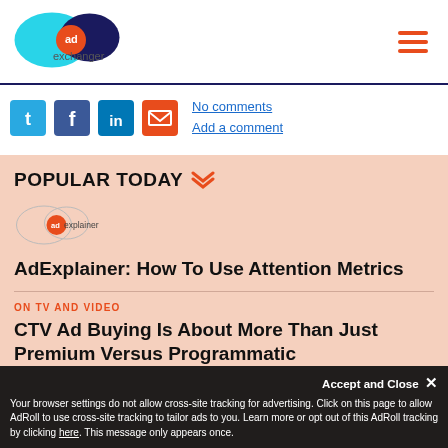[Figure (logo): AdExchanger logo with cyan and dark blue overlapping circles and orange 'ad' text]
[Figure (illustration): Hamburger menu icon with three orange horizontal bars]
[Figure (illustration): Social sharing icons: Twitter (blue bird), Facebook (f), LinkedIn (in), Email (envelope); followed by 'No comments' and 'Add a comment' links]
POPULAR TODAY
[Figure (logo): AdExplainer logo with oval shapes and orange 'ad' text]
AdExplainer: How To Use Attention Metrics
ON TV AND VIDEO
CTV Ad Buying Is About More Than Just Premium Versus Programmatic
Your browser settings do not allow cross-site tracking for advertising. Click on this page to allow AdRoll to use cross-site tracking to tailor ads to you. Learn more or opt out of this AdRoll tracking by clicking here. This message only appears once.